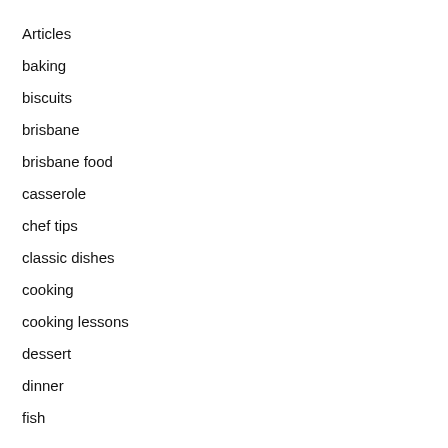Articles
baking
biscuits
brisbane
brisbane food
casserole
chef tips
classic dishes
cooking
cooking lessons
dessert
dinner
fish